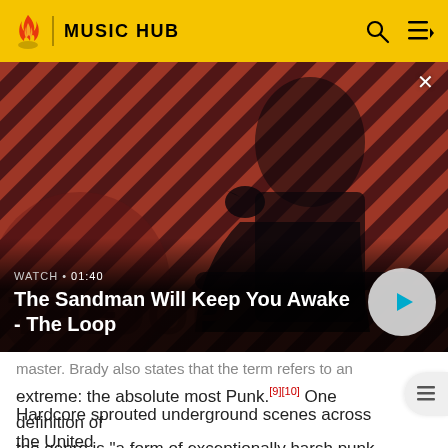MUSIC HUB
[Figure (screenshot): Video thumbnail for 'The Sandman Will Keep You Awake - The Loop' on MUSIC HUB. Shows a pale dark-haired man in black with a raven on his shoulder against a red and dark diagonal striped background. Overlay shows WATCH • 01:40 label and play button.]
master. Brady also states that the term refers to an extreme: the absolute most Punk.[9][10] One definition of the genre is "a form of exceptionally harsh punk rock."[
Hardcore sprouted underground scenes across the United States in the early 1980s particularly in Washington, D.C.,